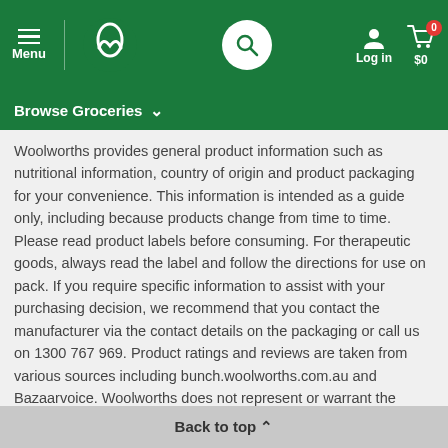[Figure (screenshot): Woolworths website navigation bar with Menu, Woolworths logo, search button, Log in, and cart showing $0 with 0 items, on a green background]
Browse Groceries
Woolworths provides general product information such as nutritional information, country of origin and product packaging for your convenience. This information is intended as a guide only, including because products change from time to time. Please read product labels before consuming. For therapeutic goods, always read the label and follow the directions for use on pack. If you require specific information to assist with your purchasing decision, we recommend that you contact the manufacturer via the contact details on the packaging or call us on 1300 767 969. Product ratings and reviews are taken from various sources including bunch.woolworths.com.au and Bazaarvoice. Woolworths does not represent or warrant the accuracy of any statements, claims or opinions made in product ratings and reviews.
Back to top ^